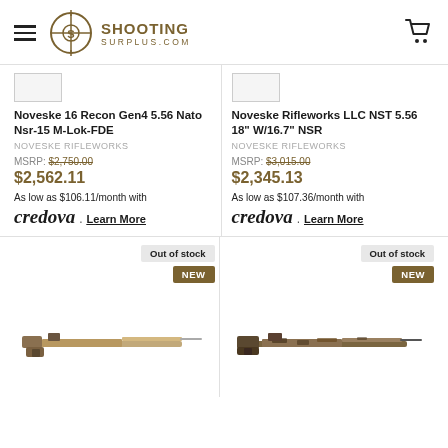Shooting Surplus - shootingsurplus.com
[Figure (screenshot): Thumbnail placeholder for Noveske 16 Recon Gen4 product]
Noveske 16 Recon Gen4 5.56 Nato Nsr-15 M-Lok-FDE
NOVESKE RIFLEWORKS
MSRP: $2,750.00
$2,562.11
As low as $106.11/month with credova . Learn More
[Figure (screenshot): Thumbnail placeholder for Noveske Rifleworks LLC NST product]
Noveske Rifleworks LLC NST 5.56 18" W/16.7" NSR
NOVESKE RIFLEWORKS
MSRP: $3,015.00
$2,345.13
As low as $107.36/month with credova . Learn More
Out of stock
NEW
Out of stock
NEW
[Figure (photo): Rifle image - tan/FDE bolt action rifle]
[Figure (photo): Rifle image - camouflage pattern bolt action rifle]